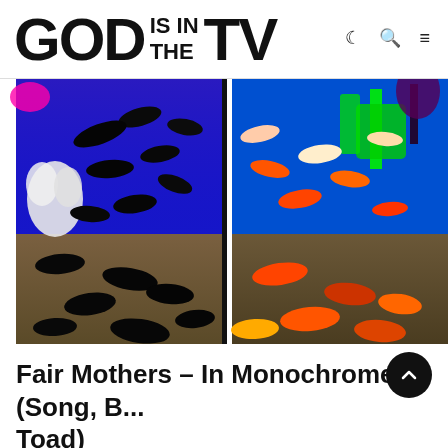GOD IS IN THE TV
[Figure (photo): Split aquarium image: left side shows fish in black and blue ultraviolet lighting with dark silhouettes and white coral; right side shows colorful fish with red/orange and green neon plants against a bright blue background, sandy bottom visible in lower portions of both panels.]
Fair Mothers – In Monochrome (Song, B... Toad)